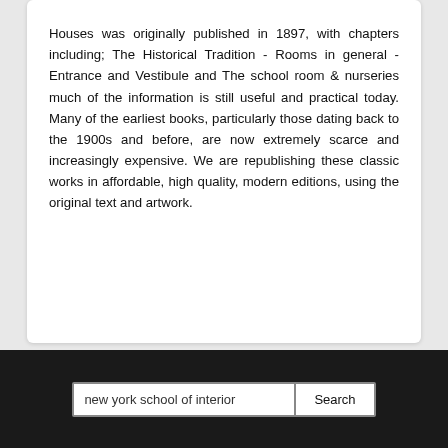Houses was originally published in 1897, with chapters including; The Historical Tradition - Rooms in general - Entrance and Vestibule and The school room & nurseries much of the information is still useful and practical today. Many of the earliest books, particularly those dating back to the 1900s and before, are now extremely scarce and increasingly expensive. We are republishing these classic works in affordable, high quality, modern editions, using the original text and artwork.
new york school of interior [Search]